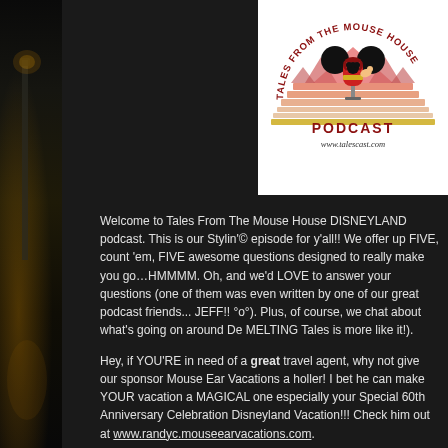[Figure (logo): Tales From The Mouse House Podcast logo with Mickey Mouse ears on a microphone, pink/red layered triangles forming a castle silhouette, text 'PODCAST' and 'www.talescast.com']
Welcome to Tales From The Mouse House DISNEYLAND podcast. This is our Stylin'© episode for y'all!! We offer up FIVE, count 'em, FIVE awesome questions designed to really make you go…HMMMM. Oh, and we'd LOVE to answer your questions (one of them was even written by one of our great podcast friends... JEFF!! °o°). Plus, of course, we chat about what's going on around De MELTING Tales is more like it!).
Hey, if YOU'RE in need of a great travel agent, why not give our sponsor Mouse Ear Vacations a holler! I bet he can make YOUR vacation a MAGICAL one especially your Special 60th Anniversary Celebration Disneyland Vacation!!! Check him out at www.randyc.mouseearvacations.com.